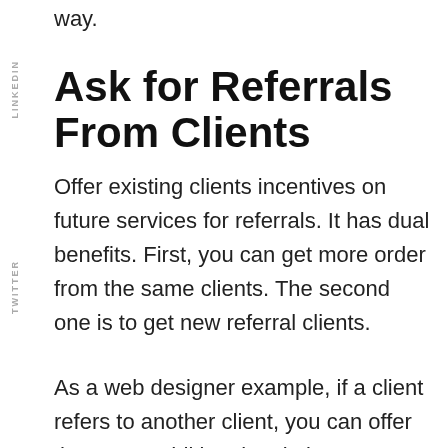way.
Ask for Referrals From Clients
Offer existing clients incentives on future services for referrals. It has dual benefits. First, you can get more order from the same clients. The second one is to get new referral clients.
As a web designer example, if a client refers to another client, you can offer them one additional variation.
Referrals and word of mouth are the most